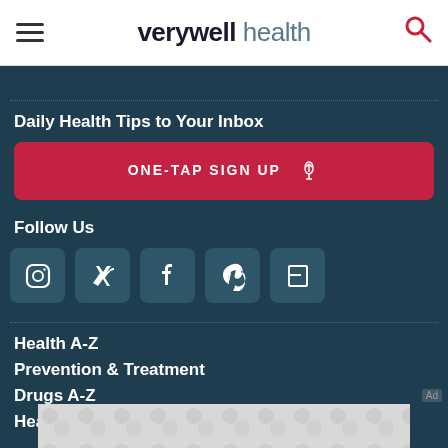verywell health
Daily Health Tips to Your Inbox
ONE-TAP SIGN UP
Follow Us
[Figure (infographic): Social media icons: Instagram, Twitter, Facebook, Pinterest, Flipboard]
Health A-Z
Prevention & Treatment
Drugs A-Z
Health C...